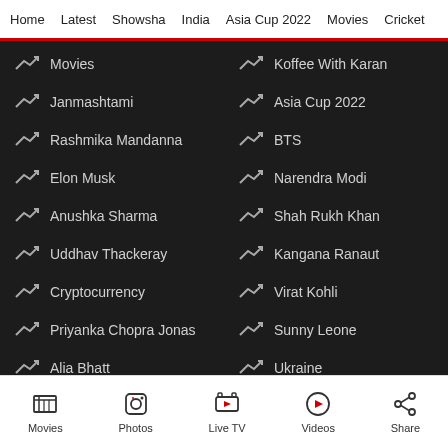Home | Latest | Showsha | India | Asia Cup 2022 | Movies | Cricket
Movies
Koffee With Karan
Janmashtami
Asia Cup 2022
Rashmika Mandanna
BTS
Elon Musk
Narendra Modi
Anushka Sharma
Shah Rukh Khan
Uddhav Thackeray
Kangana Ranaut
Cryptocurrency
Virat Kohli
Priyanka Chopra Jonas
Sunny Leone
Alia Bhatt
Ukraine
Movies | Photos | Live TV | Videos | Share